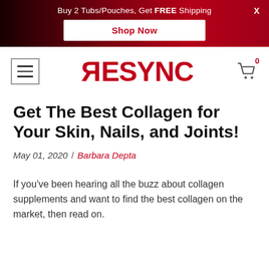Buy 2 Tubs/Pouches, Get FREE Shipping
Shop Now
[Figure (logo): RESYNC brand logo in red with a reversed R, with hamburger menu icon on left and shopping cart icon (0 items) on right]
Get The Best Collagen for Your Skin, Nails, and Joints!
May 01, 2020 / Barbara Depta
If you've been hearing all the buzz about collagen supplements and want to find the best collagen on the market, then read on.